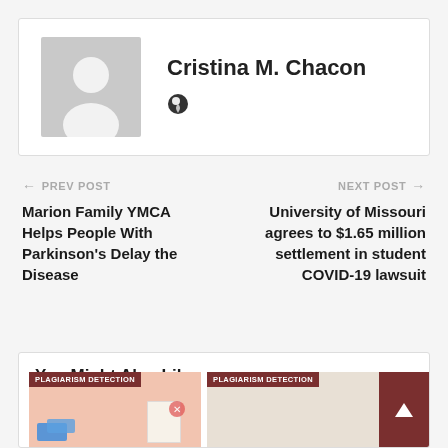[Figure (photo): Author profile card with gray placeholder avatar image and name Cristina M. Chacon with a globe/heart icon]
Cristina M. Chacon
← PREV POST
Marion Family YMCA Helps People With Parkinson's Delay the Disease
NEXT POST →
University of Missouri agrees to $1.65 million settlement in student COVID-19 lawsuit
You Might Also Like
[Figure (screenshot): PLAGIARISM DETECTION thumbnail card with pink/peach background, left side]
[Figure (screenshot): PLAGIARISM DETECTION thumbnail card with light gray/beige background, right side]